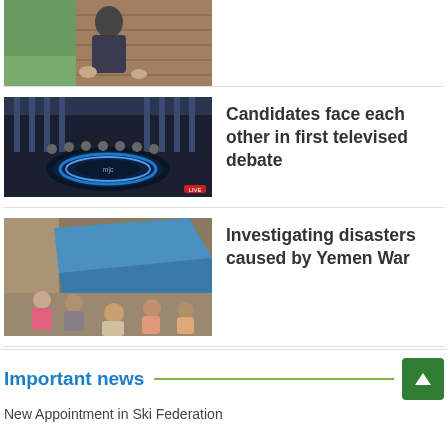[Figure (photo): Person sitting outdoors on wooden surface, grass visible in background]
[Figure (photo): TV debate stage with circular desk setup and studio lighting]
Candidates face each other in first televised debate
[Figure (photo): Children sitting near makeshift shelter with blue tarp, Yemen war scene]
Investigating disasters caused by Yemen War
Important news
New Appointment in Ski Federation